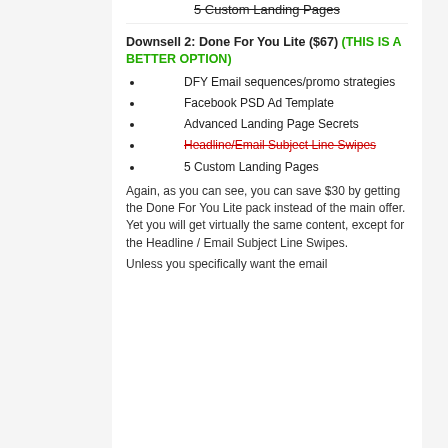5 Custom Landing Pages
Downsell 2: Done For You Lite ($67) (THIS IS A BETTER OPTION)
DFY Email sequences/promo strategies
Facebook PSD Ad Template
Advanced Landing Page Secrets
Headline/Email Subject Line Swipes
5 Custom Landing Pages
Again, as you can see, you can save $30 by getting the Done For You Lite pack instead of the main offer. Yet you will get virtually the same content, except for the Headline / Email Subject Line Swipes.
Unless you specifically want the email